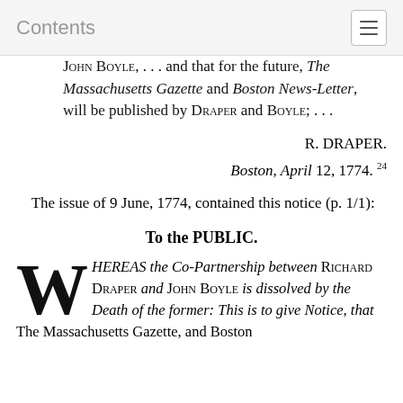Contents
John Boyle, . . . and that for the future, The Massachusetts Gazette and Boston News-Letter, will be published by Draper and Boyle; . . .
R. DRAPER.
Boston, April 12, 1774. 24
The issue of 9 June, 1774, contained this notice (p. 1/1):
To the PUBLIC.
WHEREAS the Co-Partnership between Richard Draper and John Boyle is dissolved by the Death of the former: This is to give Notice, that The Massachusetts Gazette, and Boston